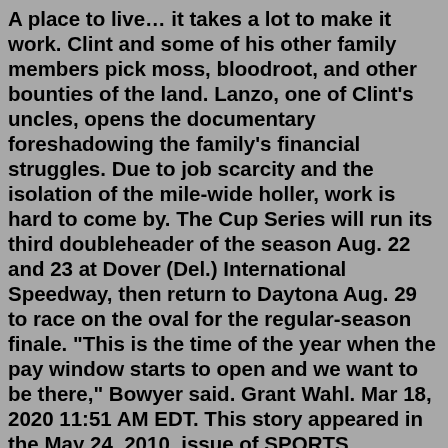A place to live… it takes a lot to make it work. Clint and some of his other family members pick moss, bloodroot, and other bounties of the land. Lanzo, one of Clint's uncles, opens the documentary foreshadowing the family's financial struggles. Due to job scarcity and the isolation of the mile-wide holler, work is hard to come by. The Cup Series will run its third doubleheader of the season Aug. 22 and 23 at Dover (Del.) International Speedway, then return to Daytona Aug. 29 to race on the oval for the regular-season finale. "This is the time of the year when the pay window starts to open and we want to be there," Bowyer said. Grant Wahl. Mar 18, 2020 11:51 AM EDT. This story appeared in the May 24, 2010, issue of SPORTS ILLUSTRATED. On the 10-year anniversary of Clint Dempsey's famous goal vs. Juventus, read SI's ...Bowling League Results for 2020-21 Tuesday Seniors at Pahrump Nugget Bowl. ... Start Date: 09/08/2020 Start Time: 3:00 PM Last Updated: 3/17/2021 Contact League Admin Get Email Updates Via League Dashboard Season You...